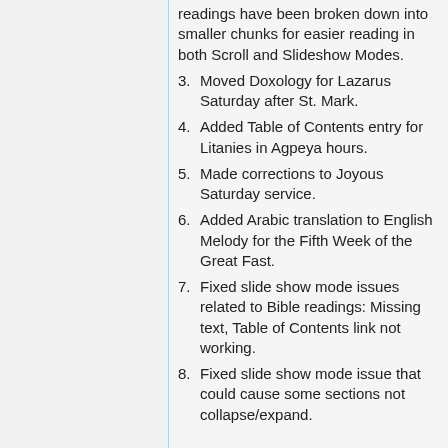readings have been broken down into smaller chunks for easier reading in both Scroll and Slideshow Modes.
3. Moved Doxology for Lazarus Saturday after St. Mark.
4. Added Table of Contents entry for Litanies in Agpeya hours.
5. Made corrections to Joyous Saturday service.
6. Added Arabic translation to English Melody for the Fifth Week of the Great Fast.
7. Fixed slide show mode issues related to Bible readings: Missing text, Table of Contents link not working.
8. Fixed slide show mode issue that could cause some sections not collapse/expand.